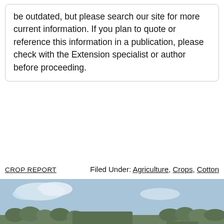be outdated, but please search our site for more current information. If you plan to quote or reference this information in a publication, please check with the Extension specialist or author before proceeding.
CROP REPORT    Filed Under: Agriculture, Crops, Cotton
[Figure (photo): Two large cotton harvesting machines (module builders/pickers) moving through a white cotton field. The field rows extend into the distance. Trees are visible on the horizon under a partly cloudy sky.]